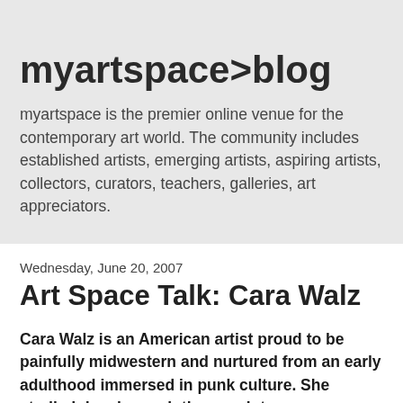myartspace>blog
myartspace is the premier online venue for the contemporary art world. The community includes established artists, emerging artists, aspiring artists, collectors, curators, teachers, galleries, art appreciators.
Wednesday, June 20, 2007
Art Space Talk: Cara Walz
Cara Walz is an American artist proud to be painfully midwestern and nurtured from an early adulthood immersed in punk culture. She studied drawing, painting, sculpture, performance and photography at